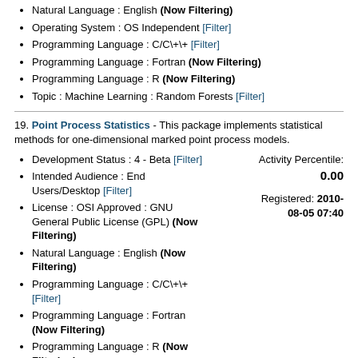Natural Language : English (Now Filtering)
Operating System : OS Independent [Filter]
Programming Language : C/C\+\+ [Filter]
Programming Language : Fortran (Now Filtering)
Programming Language : R (Now Filtering)
Topic : Machine Learning : Random Forests [Filter]
19. Point Process Statistics - This package implements statistical methods for one-dimensional marked point process models.
Development Status : 4 - Beta [Filter]
Intended Audience : End Users/Desktop [Filter]
License : OSI Approved : GNU General Public License (GPL) (Now Filtering)
Natural Language : English (Now Filtering)
Programming Language : C/C\+\+ [Filter]
Programming Language : Fortran (Now Filtering)
Programming Language : R (Now Filtering)
Topic : Machine Learning : Model